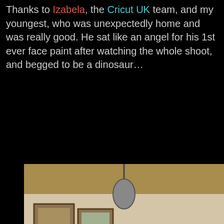Thanks to Izabela, the Cricut UK team, and my youngest, who was unexpectedly home and was really good. He sat like an angel for his 1st ever face paint after watching the whole shoot,  and begged to be a dinosaur…
[Figure (photo): A girl with elaborate pink face paint and a butterfly decoration in her hair hugs a young boy who has purple dinosaur face paint on his chin and cheek. They are indoors with framed pictures on the wall behind them.]